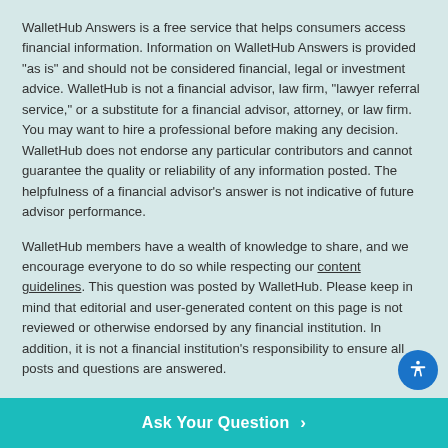WalletHub Answers is a free service that helps consumers access financial information. Information on WalletHub Answers is provided "as is" and should not be considered financial, legal or investment advice. WalletHub is not a financial advisor, law firm, "lawyer referral service," or a substitute for a financial advisor, attorney, or law firm. You may want to hire a professional before making any decision. WalletHub does not endorse any particular contributors and cannot guarantee the quality or reliability of any information posted. The helpfulness of a financial advisor's answer is not indicative of future advisor performance.
WalletHub members have a wealth of knowledge to share, and we encourage everyone to do so while respecting our content guidelines. This question was posted by WalletHub. Please keep in mind that editorial and user-generated content on this page is not reviewed or otherwise endorsed by any financial institution. In addition, it is not a financial institution's responsibility to ensure all posts and questions are answered.
Ad Disclosure: Certain offers that appear on this site originate f...
Ask Your Question >